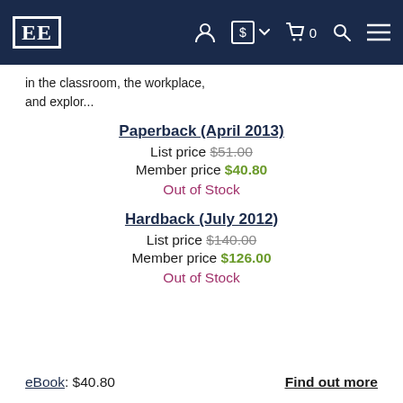EE [logo navigation bar with icons]
...in the classroom, the workplace, and explor...
Paperback (April 2013)
List price $51.00
Member price $40.80
Out of Stock
Hardback (July 2012)
List price $140.00
Member price $126.00
Out of Stock
eBook: $40.80    Find out more